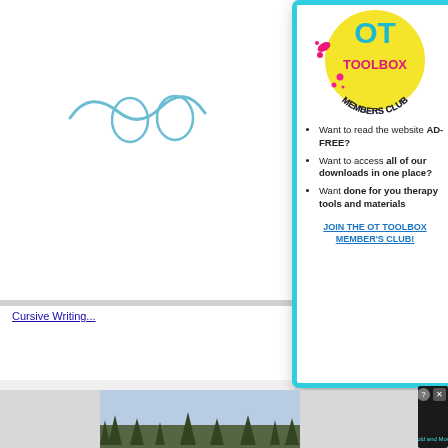[Figure (screenshot): Background webpage with cursive writing section and blue squiggle illustration on the left side]
Cursive Writing...
[Figure (illustration): OT Toolbox Members Club logo - yellow circle with pink and dark text, colorful splats]
Want to read the website AD-FREE?
Want to access all of our downloads in one place?
Want done for you therapy tools and materials
JOIN THE OT TOOLBOX MEMBER'S CLUB!
[Figure (screenshot): Bottom advertisement banner showing 'Hold and Move' game with dark background and trees]